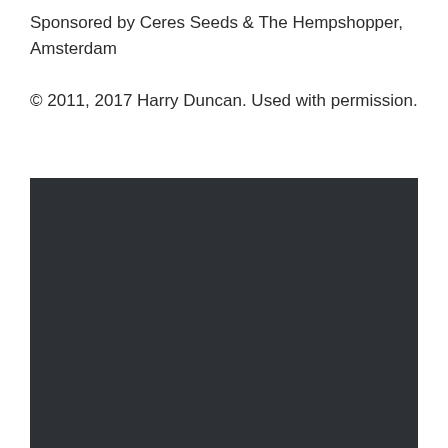Sponsored by Ceres Seeds & The Hempshopper, Amsterdam
© 2011, 2017 Harry Duncan. Used with permission.
[Figure (photo): Dark/near-black photograph, contents not discernible]